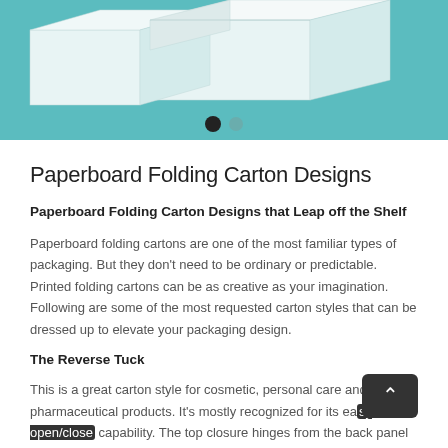[Figure (photo): Photo of white folding carton boxes on a teal/turquoise background, with slider navigation dots below]
Paperboard Folding Carton Designs
Paperboard Folding Carton Designs that Leap off the Shelf
Paperboard folding cartons are one of the most familiar types of packaging. But they don't need to be ordinary or predictable. Printed folding cartons can be as creative as your imagination. Following are some of the most requested carton styles that can be dressed up to elevate your packaging design.
The Reverse Tuck
This is a great carton style for cosmetic, personal care and pharmaceutical products. It's mostly recognized for its easy open/close capability. The top closure hinges from the back panel to the front and the bottom tucks into the back. Reverse tuck cartons store flat to save